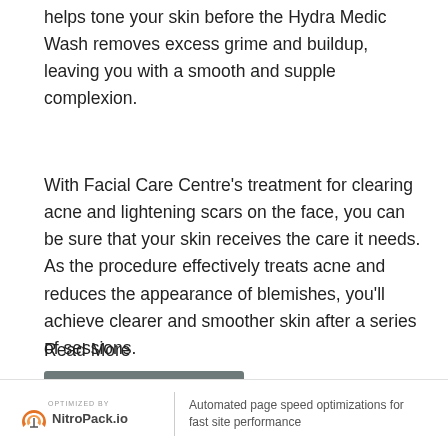helps tone your skin before the Hydra Medic Wash removes excess grime and buildup, leaving you with a smooth and supple complexion.
With Facial Care Centre's treatment for clearing acne and lightening scars on the face, you can be sure that your skin receives the care it needs. As the procedure effectively treats acne and reduces the appearance of blemishes, you'll achieve clearer and smoother skin after a series of sessions.
Read More
BOOK NOW
OPTIMIZED BY NitroPack.io | Automated page speed optimizations for fast site performance